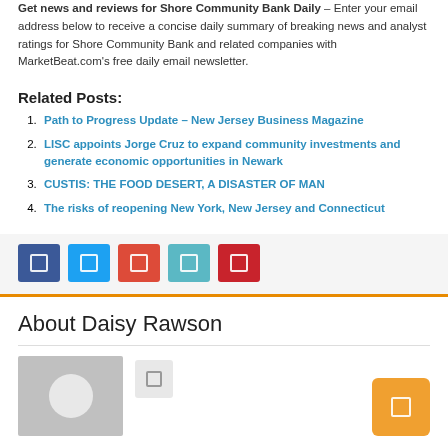Get news and reviews for Shore Community Bank Daily – Enter your email address below to receive a concise daily summary of breaking news and analyst ratings for Shore Community Bank and related companies with MarketBeat.com's free daily email newsletter.
Related Posts:
Path to Progress Update – New Jersey Business Magazine
LISC appoints Jorge Cruz to expand community investments and generate economic opportunities in Newark
CUSTIS: THE FOOD DESERT, A DISASTER OF MAN
The risks of reopening New York, New Jersey and Connecticut
[Figure (other): Social share buttons row: Facebook (dark blue), Twitter (light blue), Google+ (red-orange), LinkedIn (teal), Pinterest (red)]
About Daisy Rawson
[Figure (photo): Author avatar placeholder (gray box with white circle) and an orange action button on the right]